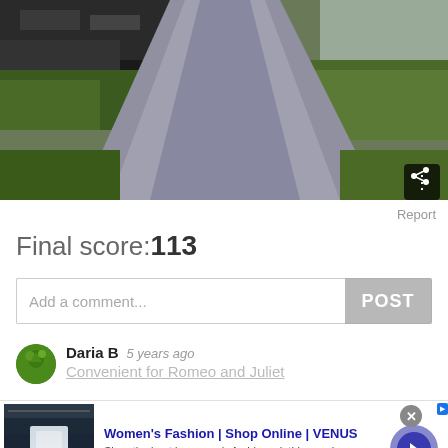[Figure (photo): Outdoor photo of a concrete sidewalk/pathway leading between buildings, with grass on both sides and a dark wall on the left. Taken at dusk or in dim lighting.]
Report
Final score:113
Add a comment...
POST
Daria B  5 years ago
Convenient for Romeo and Juliet
Women's Fashion | Shop Online | VENUS
Shop the best in women's fashion, clothing, swimwear
venus.com